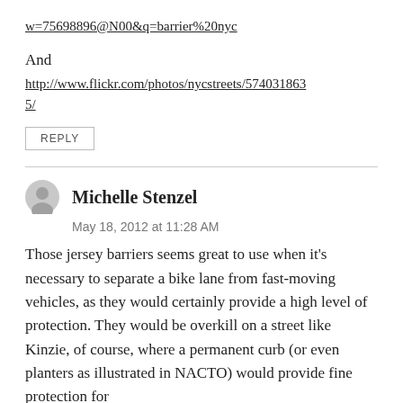w=75698896@N00&q=barrier%20nyc
And
http://www.flickr.com/photos/nycstreets/5740318635/
REPLY
Michelle Stenzel
May 18, 2012 at 11:28 AM
Those jersey barriers seems great to use when it's necessary to separate a bike lane from fast-moving vehicles, as they would certainly provide a high level of protection. They would be overkill on a street like Kinzie, of course, where a permanent curb (or even planters as illustrated in NACTO) would provide fine protection for